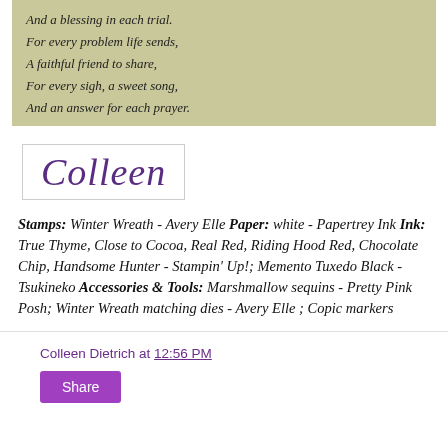And a blessing in each trial.

For every problem life sends,

A faithful friend to share,

For every sigh, a sweet song,

And an answer for each prayer.
[Figure (illustration): Signature reading 'Colleen' in purple cursive script inside a white box with thin border]
Stamps: Winter Wreath - Avery Elle Paper: white - Papertrey Ink Ink: True Thyme, Close to Cocoa, Real Red, Riding Hood Red, Chocolate Chip, Handsome Hunter - Stampin' Up!; Memento Tuxedo Black - Tsukineko Accessories & Tools: Marshmallow sequins - Pretty Pink Posh; Winter Wreath matching dies - Avery Elle ; Copic markers
Colleen Dietrich at 12:56 PM
Share